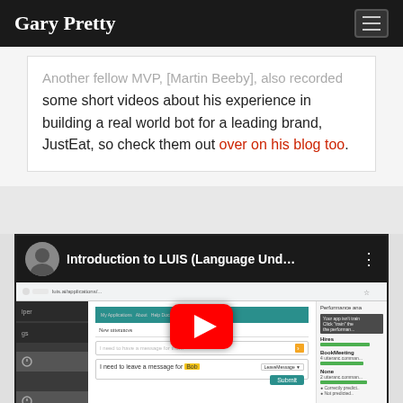Gary Pretty
Another fellow MVP, [Martin Beeby], also recorded some short videos about his experience in building a real world bot for a leading brand, JustEat, so check them out over on his blog too.
[Figure (screenshot): YouTube video thumbnail for 'Introduction to LUIS (Language Und...' showing a man's profile photo, the video title, and a screenshot of the LUIS application interface with a YouTube play button overlay.]